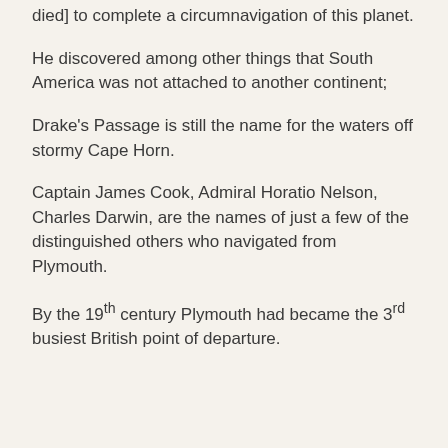first captain [second ship but captain Magellan died] to complete a circumnavigation of this planet.
He discovered among other things that South America was not attached to another continent;
Drake's Passage is still the name for the waters off stormy Cape Horn.
Captain James Cook, Admiral Horatio Nelson, Charles Darwin, are the names of just a few of the distinguished others who navigated from Plymouth.
By the 19th century Plymouth had became the 3rd busiest British point of departure.